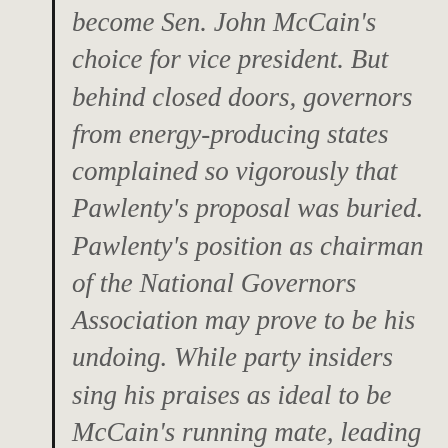become Sen. John McCain's choice for vice president. But behind closed doors, governors from energy-producing states complained so vigorously that Pawlenty's proposal was buried. Pawlenty's position as chairman of the National Governors Association may prove to be his undoing. While party insiders sing his praises as ideal to be McCain's running mate, leading conservative Republican governors have been less than pleased with him. Pawlenty has collaborated with the association's Democratic vice chairman, Pennsylvania Gov. Edward G. Rendell, on a fat economic stimulus package as well as the energy proposal